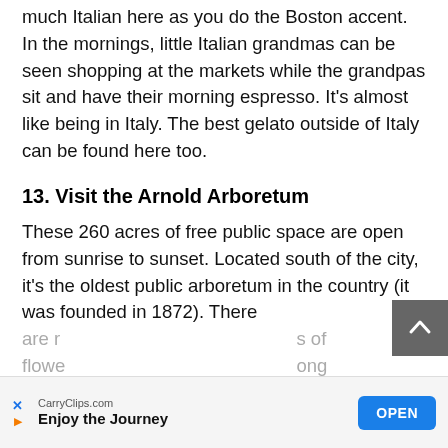much Italian here as you do the Boston accent. In the mornings, little Italian grandmas can be seen shopping at the markets while the grandpas sit and have their morning espresso. It's almost like being in Italy. The best gelato outside of Italy can be found here too.
13. Visit the Arnold Arboretum
These 260 acres of free public space are open from sunrise to sunset. Located south of the city, it's the oldest public arboretum in the country (it was founded in 1872). There are r[...]s of flowe[...]ong
[Figure (other): Advertisement banner: CarryClips.com 'Enjoy the Journey' with OPEN button]